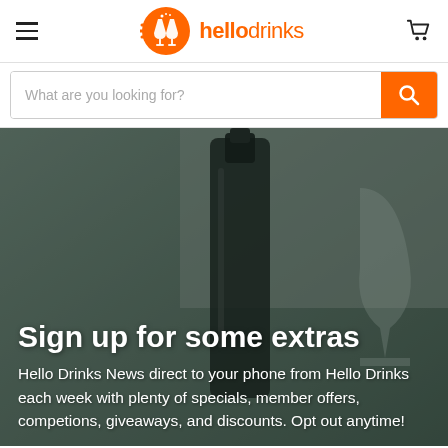[Figure (logo): hellodrinks logo with orange icon and text]
[Figure (screenshot): Search bar with placeholder 'What are you looking for?' and orange search button]
[Figure (photo): Background photo of a dark wine bottle and wine glass with teal/grey blurred background]
Sign up for some extras
Hello Drinks News direct to your phone from Hello Drinks each week with plenty of specials, member offers, competions, giveaways, and discounts. Opt out anytime!